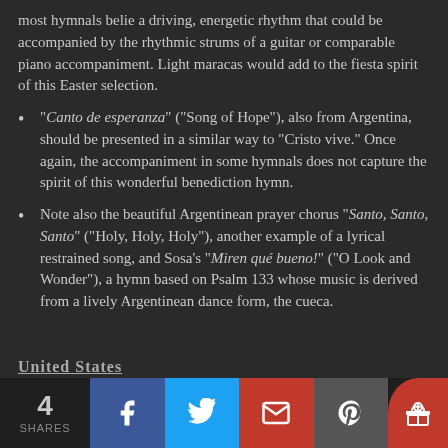most hymnals belie a driving, energetic rhythm that could be accompanied by the rhythmic strums of a guitar or comparable piano accompaniment. Light maracas would add to the fiesta spirit of this Easter selection.
“Canto de esperanza” (“Song of Hope”), also from Argentina, should be presented in a similar way to “Cristo vive.” Once again, the accompaniment in some hymnals does not capture the spirit of this wonderful benediction hymn.
Note also the beautiful Argentinean prayer chorus “Santo, Santo, Santo” (“Holy, Holy, Holy”), another example of a lyrical restrained song, and Sosa’s “Miren qué bueno!” (“O Look and Wonder”), a hymn based on Psalm 133 whose music is derived from a lively Argentinean dance form, the cueca.
United States
4 SHARES | Facebook | Twitter | Email | Pinterest | Gift